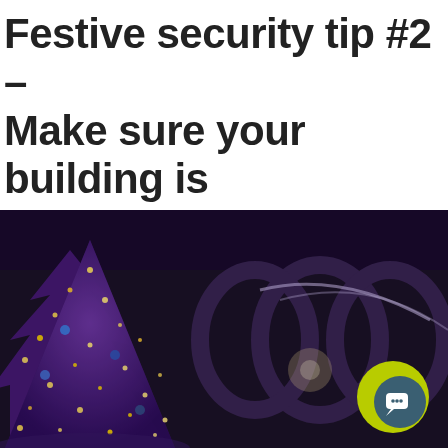Festive security tip #2 – Make sure your building is well lit
[Figure (photo): Night photo of a purple/blue Christmas tree decorated with warm yellow lights, with an illuminated building facade visible in the dark background]
Hi! Thanks for visiting. How can we help you today?